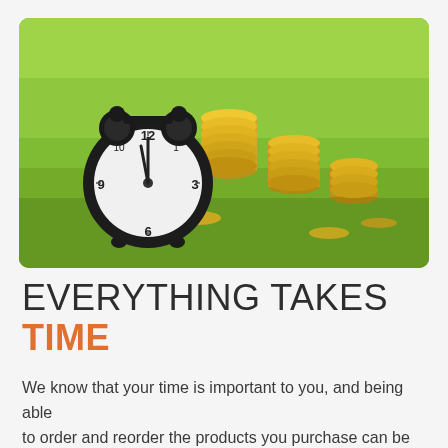[Figure (photo): A black vintage alarm clock showing nearly midnight sits on green grass, with stacks of gold coins arranged in ascending height in the background. Bright green lawn fills the scene.]
EVERYTHING TAKES TIME
We know that your time is important to you, and being able to order and reorder the products you purchase can be time consuming, but in our line we order a lot. Being able to...